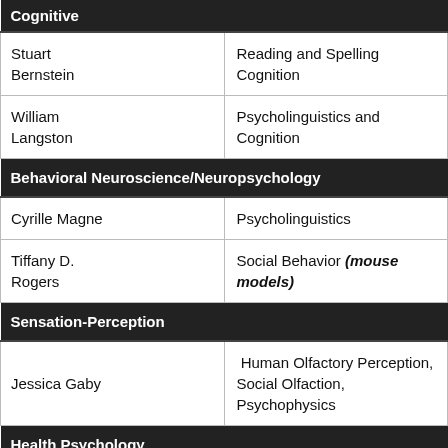| Name | Research Area |
| --- | --- |
| Cognitive |  |
| Stuart Bernstein | Reading and Spelling Cognition |
| William Langston | Psycholinguistics and Cognition |
| Behavioral Neuroscience/Neuropsychology |  |
| Cyrille Magne | Psycholinguistics |
| Tiffany D. Rogers | Social Behavior (mouse models) |
| Sensation-Perception |  |
| Jessica Gaby | Human Olfactory Perception, Social Olfaction, Psychophysics |
| Health Psychology |  |
| ... | Social Perspective-taking / ... |